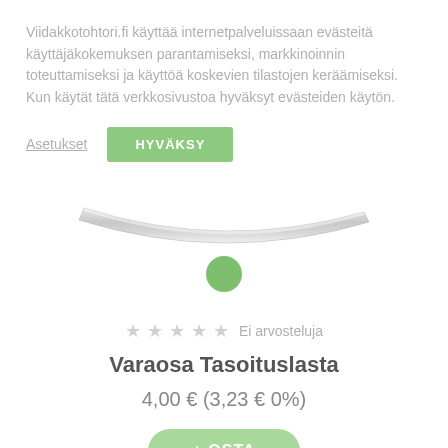Viidakkotohtori.fi käyttää internetpalveluissaan evästeitä käyttäjäkokemuksen parantamiseksi, markkinoinnin toteuttamiseksi ja käyttöä koskevien tilastojen keräämiseksi. Kun käytät tätä verkkosivustoa hyväksyt evästeiden käytön.
Asetukset
HYVÄKSY
[Figure (photo): Product image showing a leveling squeegee part with a swoosh-shaped profile, with a green circular indicator below it.]
Ei arvosteluja
Varaosa Tasoituslasta
4,00 € (3,23 € 0%)
+ OSTA